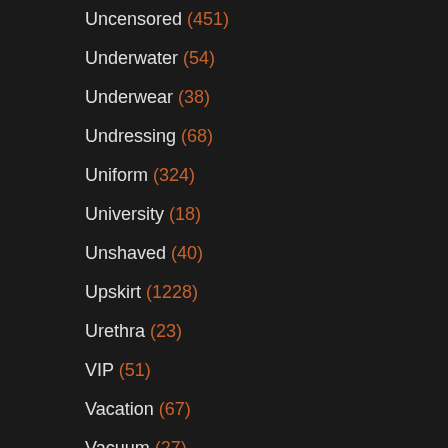Uncensored (451)
Underwater (54)
Underwear (38)
Undressing (68)
Uniform (324)
University (18)
Unshaved (40)
Upskirt (1228)
Urethra (23)
VIP (51)
Vacation (67)
Vacuum (27)
Vampire (18)
Van (99)
Vegetable (99)
Vibrator (810)